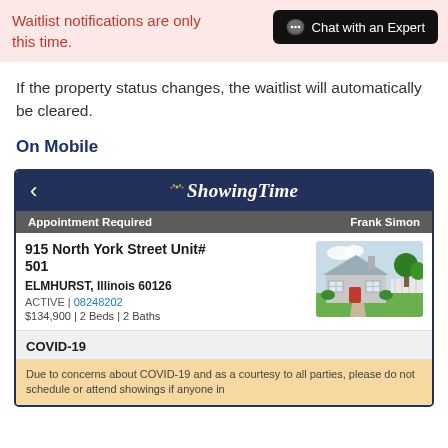Waitlist notifications are only this time.
[Figure (screenshot): Chat with an Expert button (dark background)]
If the property status changes, the waitlist will automatically be cleared.
On Mobile
[Figure (screenshot): ShowingTime mobile app screenshot showing property at 915 North York Street Unit# 501, ELMHURST, Illinois 60126. ACTIVE | 08248202. $134,900 | 2 Beds | 2 Baths. COVID-19 section with a notice about not scheduling or attending showings.]